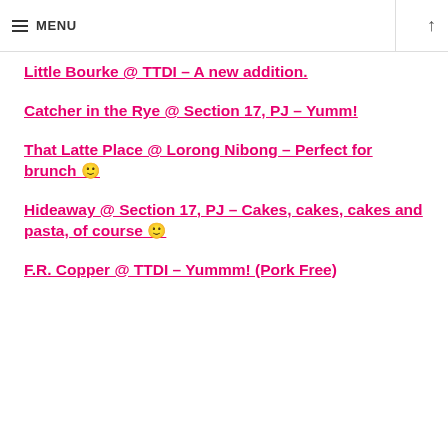≡ MENU ↑
Little Bourke @ TTDI – A new addition.
Catcher in the Rye @ Section 17, PJ – Yumm!
That Latte Place @ Lorong Nibong – Perfect for brunch 🙂
Hideaway @ Section 17, PJ – Cakes, cakes, cakes and pasta, of course 🙂
F.R. Copper @ TTDI &#8211; Yummm! (Pork Free)